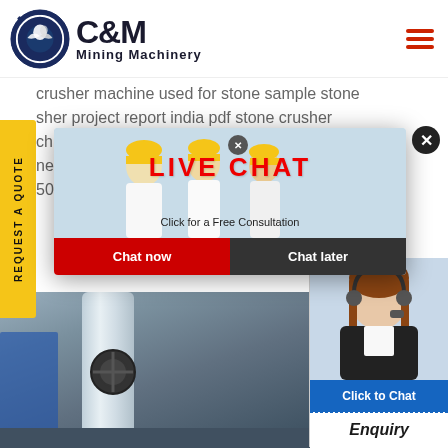[Figure (logo): C&M Mining Machinery logo with eagle in gear circle, dark navy blue and black]
crusher machine used for stone sample stone sher project report india pdf stone crusher chine,qu... mobile ne crush... 500 tpd...
[Figure (infographic): Live Chat popup modal with workers in hard hats, 'LIVE CHAT' in red, 'Click for a Free Consultation', Chat now and Chat later buttons]
[Figure (photo): Industrial machinery/equipment area with tower and blue structure]
[Figure (photo): Customer service representative with headset on right side, Click to Chat button and Enquiry label]